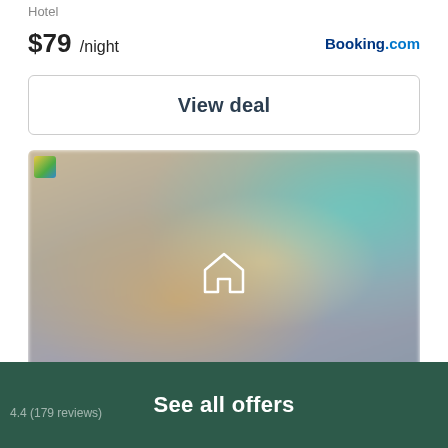Hotel
$79 /night
Booking.com
View deal
[Figure (photo): Blurred interior hotel room photo showing a living area with sofa, lamp, and teal wall art, with a white house/home icon overlay in the center]
See all offers
4.4 (179 reviews)